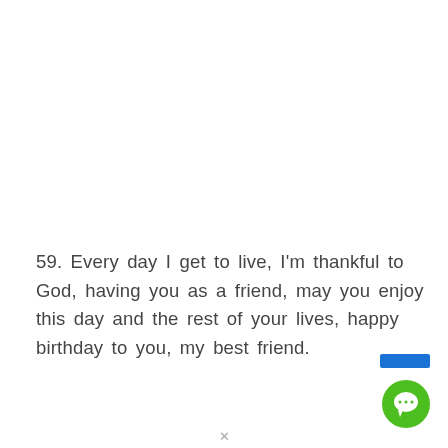59. Every day I get to live, I'm thankful to God, having you as a friend, may you enjoy this day and the rest of your lives, happy birthday to you, my best friend.
[Figure (other): Blue rectangle UI element and green circular chat button icon in bottom-right corner]